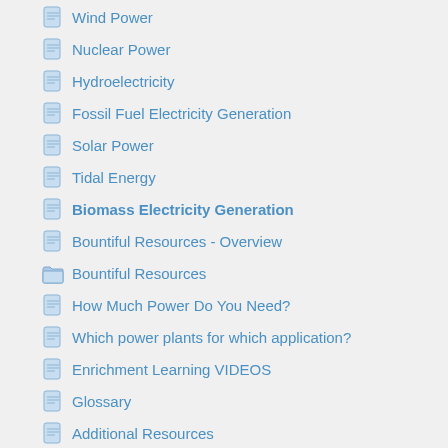Wind Power
Nuclear Power
Hydroelectricity
Fossil Fuel Electricity Generation
Solar Power
Tidal Energy
Biomass Electricity Generation
Bountiful Resources - Overview
Bountiful Resources
How Much Power Do You Need?
Which power plants for which application?
Enrichment Learning VIDEOS
Glossary
Additional Resources
NB Power - NB Electric Grid System Map
NB Energy and Mines Resource Maps
Intergovernmental Panel on Climate Change -- Renew...
Siemens Power Matrix Grid Planning Game